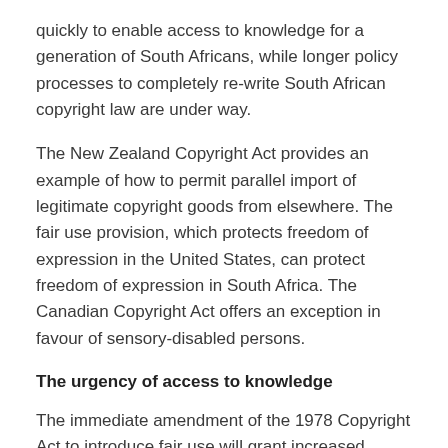quickly to enable access to knowledge for a generation of South Africans, while longer policy processes to completely re-write South African copyright law are under way.
The New Zealand Copyright Act provides an example of how to permit parallel import of legitimate copyright goods from elsewhere. The fair use provision, which protects freedom of expression in the United States, can protect freedom of expression in South Africa. The Canadian Copyright Act offers an exception in favour of sensory-disabled persons.
The urgency of access to knowledge
The immediate amendment of the 1978 Copyright Act to introduce fair use will grant increased access to knowledge to South Africans now. The introduction of an exception for sensory-disabled persons will finally treat